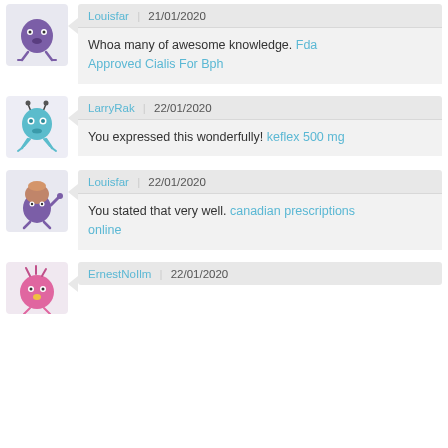Louisfar | 21/01/2020 — Whoa many of awesome knowledge. Fda Approved Cialis For Bph
LarryRak | 22/01/2020 — You expressed this wonderfully! keflex 500 mg
Louisfar | 22/01/2020 — You stated that very well. canadian prescriptions online
ErnestNoIlm | 22/01/2020